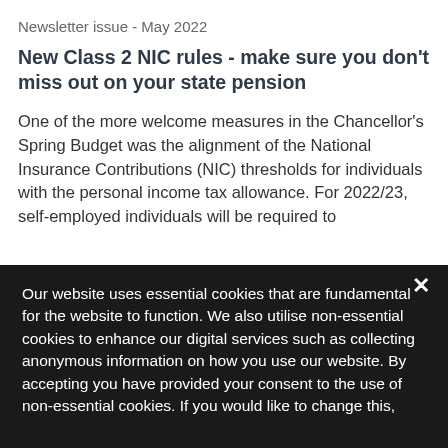Newsletter issue - May 2022
New Class 2 NIC rules - make sure you don't miss out on your state pension
One of the more welcome measures in the Chancellor's Spring Budget was the alignment of the National Insurance Contributions (NIC) thresholds for individuals with the personal income tax allowance. For 2022/23, self-employed individuals will be required to
Our website uses essential cookies that are fundamental for the website to function. We also utilise non-essential cookies to enhance our digital services such as collecting anonymous information on how you use our website. By accepting you have provided your consent to the use of non-essential cookies. If you would like to change this, please click on 'Change cookie settings'.
Accept & Close
Change cookie settings